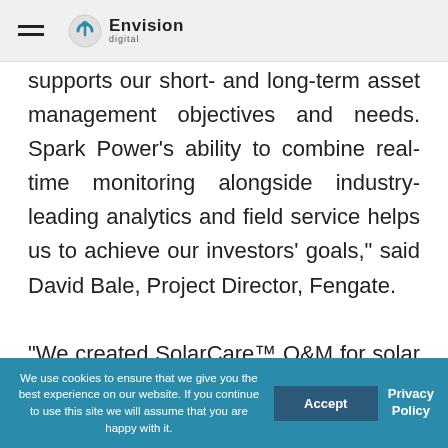Envision Digital
supports our short- and long-term asset management objectives and needs. Spark Power’s ability to combine real-time monitoring alongside industry-leading analytics and field service helps us to achieve our investors’ goals,” said David Bale, Project Director, Fengate.
“We created SolarCare™ O&M for solar asset owners after identifying an opportunity to provide an integrated solution that offers these owners more value at a lower [total] cost. Following discussions with Envision Digital
We use cookies to ensure that we give you the best experience on our website. If you continue to use this site we will assume that you are happy with it.